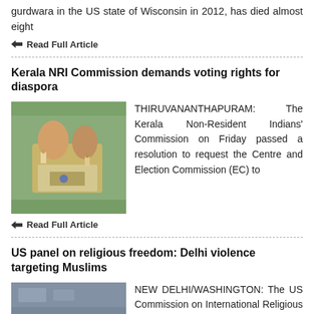gurdwara in the US state of Wisconsin in 2012, has died almost eight
Read Full Article
Kerala NRI Commission demands voting rights for diaspora
[Figure (photo): Hands marking a ballot or voter registration document]
THIRUVANANTHAPURAM: The Kerala Non-Resident Indians' Commission on Friday passed a resolution to request the Centre and Election Commission (EC) to
Read Full Article
US panel on religious freedom: Delhi violence targeting Muslims
[Figure (photo): Street scene with fire and people during Delhi violence]
NEW DELHI/WASHINGTON: The US Commission on International Religious Freedom (USCIRF) has said that the Delhi violence in which over 30